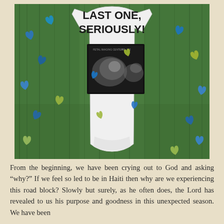[Figure (photo): Photo of a white baby onesie laid on green grass, with blue and gold confetti hearts scattered around. The onesie has text reading 'LAST ONE, SERIOUSLY!' and a ultrasound image placed on top of it.]
From the beginning, we have been crying out to God and asking “why?” If we feel so led to be in Haiti then why are we experiencing this road block? Slowly but surely, as he often does, the Lord has revealed to us his purpose and goodness in this unexpected season. We have been